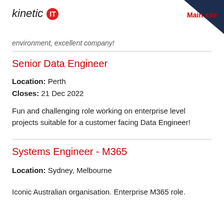kinetic IT | Main site
environment, excellent company!
Senior Data Engineer
Location: Perth
Closes: 21 Dec 2022
Fun and challenging role working on enterprise level projects suitable for a customer facing Data Engineer!
Systems Engineer - M365
Location: Sydney, Melbourne
Iconic Australian organisation. Enterprise M365 role.